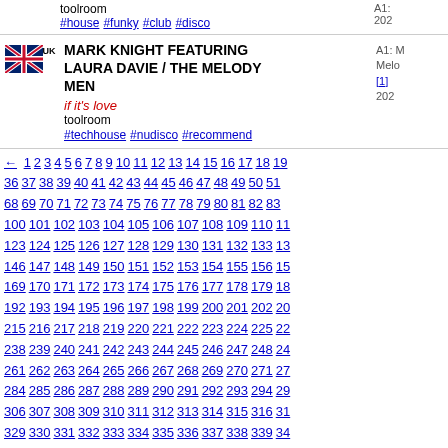toolroom
#house #funky #club #disco
MARK KNIGHT FEATURING LAURA DAVIE / THE MELODY MEN
if it's love
toolroom
#techhouse #nudisco #recommend
← 1 2 3 4 5 6 7 8 9 10 11 12 13 14 15 16 17 18 19... 36 37 38 39 40 41 42 43 44 45 46 47 48 49 50 51... 68 69 70 71 72 73 74 75 76 77 78 79 80 81 82 83... 100 101 102 103 104 105 106 107 108 109 110 11... 123 124 125 126 127 128 129 130 131 132 133 13... 146 147 148 149 150 151 152 153 154 155 156 15... 169 170 171 172 173 174 175 176 177 178 179 18... 192 193 194 195 196 197 198 199 200 201 202 20... 215 216 217 218 219 220 221 222 223 224 225 22... 238 239 240 241 242 243 244 245 246 247 248 24... 261 262 263 264 265 266 267 268 269 270 271 27... 284 285 286 287 288 289 290 291 292 293 294 29... 306 307 308 309 310 311 312 313 314 315 316 31... 329 330 331 332 333 334 335 336 337 338 339 34... 352 353 354 355 356 357 358 359 360 361 362 36... 375 376 377 378 379 380 381 382 383 384 385 38... 398 399 400 401 402 403 404 405 406 407 408 40... 421 422 423 424 425 426 427 428 429 430 431 43... 444 445 446 447 448 449 450 451 452 453 454 45... 467 468 469 470 471 472 473 474 475 476 477 47... 490 491 492 493 494 495 496 497 498 499 500 50... 513 514 515 516 517 518 519 520 521 522 523 52...